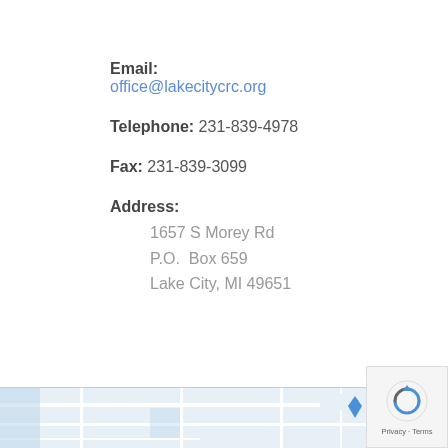Email: office@lakecitycrc.org
Telephone: 231-839-4978
Fax: 231-839-3099
Address:
1657 S Morey Rd
P.O. Box 659
Lake City, MI 49651
[Figure (map): Partial Google Maps screenshot showing road map of Lake City, MI area]
[Figure (logo): Google reCAPTCHA badge with Privacy and Terms links]